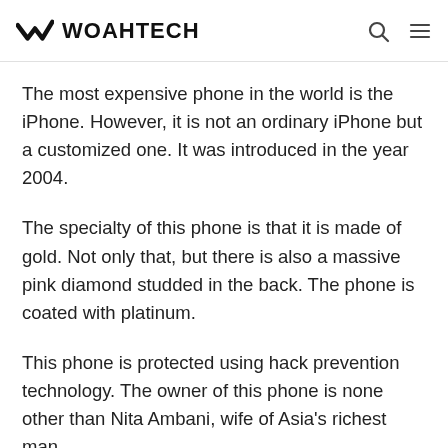WOAHTECH
The most expensive phone in the world is the iPhone. However, it is not an ordinary iPhone but a customized one. It was introduced in the year 2004.
The specialty of this phone is that it is made of gold. Not only that, but there is also a massive pink diamond studded in the back. The phone is coated with platinum.
This phone is protected using hack prevention technology. The owner of this phone is none other than Nita Ambani, wife of Asia's richest man.